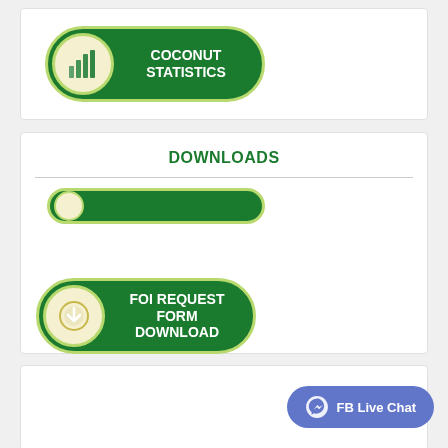[Figure (infographic): Green pill-shaped button with circular icon showing bar chart and text COCONUT STATISTICS]
DOWNLOADS
[Figure (infographic): Partial green pill-shaped button partially visible (top portion cropped)]
[Figure (infographic): Green pill-shaped button with circular download icon and text FOI REQUEST FORM DOWNLOAD]
[Figure (infographic): Purple pill-shaped FB Live Chat button with messenger icon]